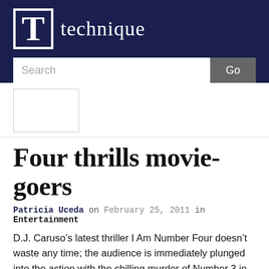T technique
Four thrills movie-goers
Patricia Uceda on February 25, 2011 in Entertainment
D.J. Caruso’s latest thriller I Am Number Four doesn’t waste any time; the audience is immediately plunged into the action with the chilling murder of Number 3 in the middle of a tropical jungle. From there we are